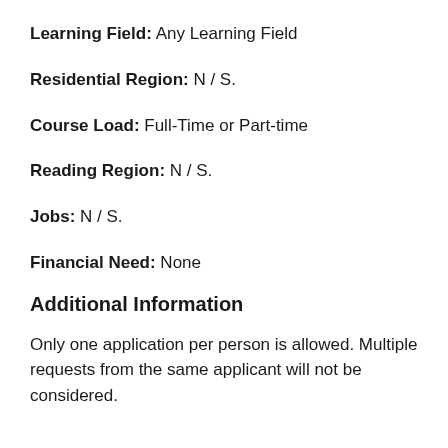Learning Field: Any Learning Field
Residential Region: N / S.
Course Load: Full-Time or Part-time
Reading Region: N / S.
Jobs: N / S.
Financial Need: None
Additional Information
Only one application per person is allowed. Multiple requests from the same applicant will not be considered.